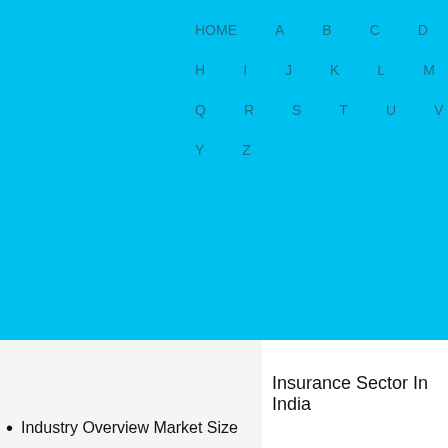HOME  A  B  C  D  E  F  G  H  I  J  K  L  M  N  O  P  Q  R  S  T  U  V  W  X  Y  Z
Industry Overview Market Size
Insurance Sector In India